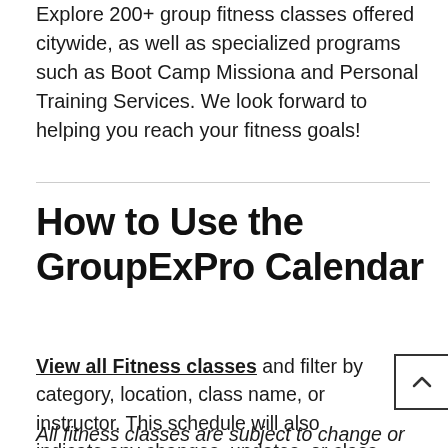Explore 200+ group fitness classes offered citywide, as well as specialized programs such as Boot Camp Missiona and Personal Training Services. We look forward to helping you reach your fitness goals!
How to Use the GroupExPro Calendar
View all Fitness classes and filter by category, location, class name, or instructor. This schedule will also indicate any changes, updates, or class cancellations.
All fitness classes are subject to change or